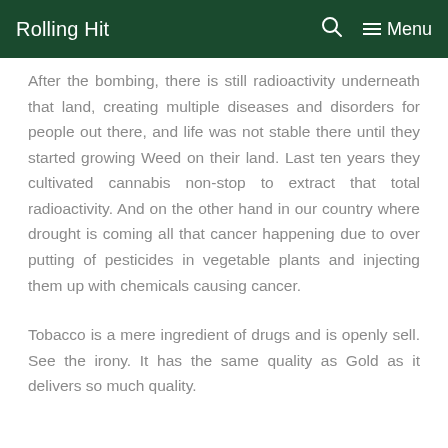Rolling Hit  🔍  ☰ Menu
After the bombing, there is still radioactivity underneath that land, creating multiple diseases and disorders for people out there, and life was not stable there until they started growing Weed on their land. Last ten years they cultivated cannabis non-stop to extract that total radioactivity. And on the other hand in our country where drought is coming all that cancer happening due to over putting of pesticides in vegetable plants and injecting them up with chemicals causing cancer.
Tobacco is a mere ingredient of drugs and is openly sell. See the irony. It has the same quality as Gold as it delivers so much quality.